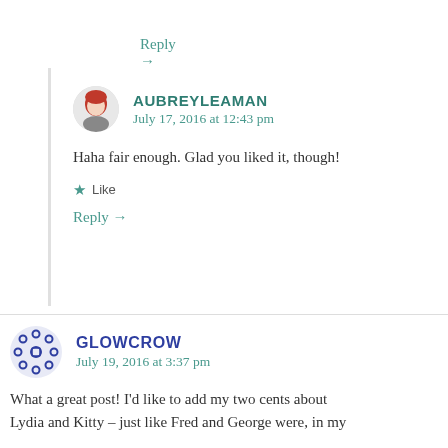Reply →
AUBREYLEAMAN
July 17, 2016 at 12:43 pm
Haha fair enough. Glad you liked it, though!
★ Like
Reply →
GLOWCROW
July 19, 2016 at 3:37 pm
What a great post! I'd like to add my two cents about Lydia and Kitty – just like Fred and George were, in my